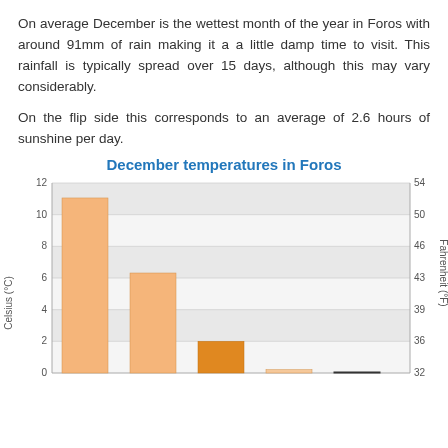On average December is the wettest month of the year in Foros with around 91mm of rain making it a a little damp time to visit. This rainfall is typically spread over 15 days, although this may vary considerably.
On the flip side this corresponds to an average of 2.6 hours of sunshine per day.
December temperatures in Foros
[Figure (bar-chart): December temperatures in Foros]